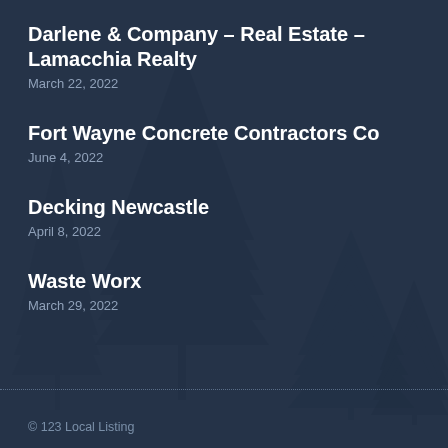Darlene & Company – Real Estate – Lamacchia Realty
March 22, 2022
Fort Wayne Concrete Contractors Co
June 4, 2022
Decking Newcastle
April 8, 2022
Waste Worx
March 29, 2022
© 123 Local Listing